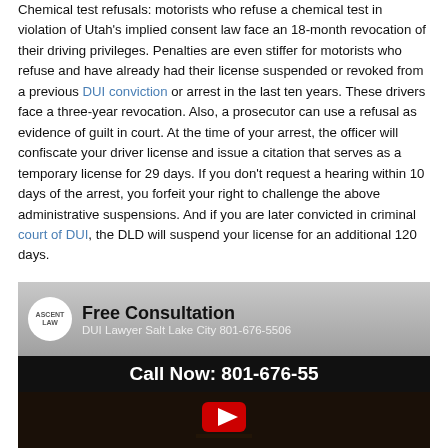Chemical test refusals: motorists who refuse a chemical test in violation of Utah's implied consent law face an 18-month revocation of their driving privileges. Penalties are even stiffer for motorists who refuse and have already had their license suspended or revoked from a previous DUI conviction or arrest in the last ten years. These drivers face a three-year revocation. Also, a prosecutor can use a refusal as evidence of guilt in court. At the time of your arrest, the officer will confiscate your driver license and issue a citation that serves as a temporary license for 29 days. If you don't request a hearing within 10 days of the arrest, you forfeit your right to challenge the above administrative suspensions. And if you are later convicted in criminal court of DUI, the DLD will suspend your license for an additional 120 days.
[Figure (screenshot): YouTube video thumbnail showing 'Free Consultation' DUI Lawyer Salt Lake City 801-676-5506 Call Now: 801-676-55 with YouTube play button and dark background with gavel image]